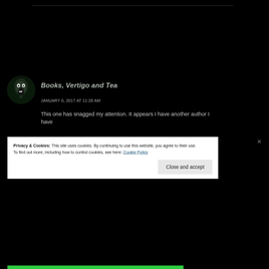[Figure (illustration): Circular avatar with a screaming face on dark background, used as blog profile image for 'Books, Vertigo and Tea']
Books, Vertigo and Tea
JANUARY 6, 2017 AT 11:28 AM
This one has snagged my attention. It appears I have another author I have
Privacy & Cookies: This site uses cookies. By continuing to use this website, you agree to their use.
To find out more, including how to control cookies, see here: Cookie Policy
Close and accept